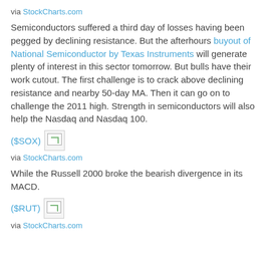via StockCharts.com
Semiconductors suffered a third day of losses having been pegged by declining resistance. But the afterhours buyout of National Semiconductor by Texas Instruments will generate plenty of interest in this sector tomorrow. But bulls have their work cutout. The first challenge is to crack above declining resistance and nearby 50-day MA. Then it can go on to challenge the 2011 high. Strength in semiconductors will also help the Nasdaq and Nasdaq 100.
($SOX) [image]
via StockCharts.com
While the Russell 2000 broke the bearish divergence in its MACD.
($RUT) [image]
via StockCharts.com